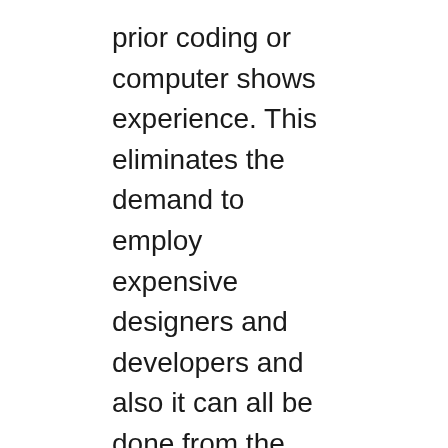prior coding or computer shows experience. This eliminates the demand to employ expensive designers and developers and also it can all be done from the done in one system Clickfunnels saving you loan as well as maximizing the moment to focus on more vital elements of your organisation.
With Clickfunnels you can easily create a totally adjustable, interactable web site which leads potential customers